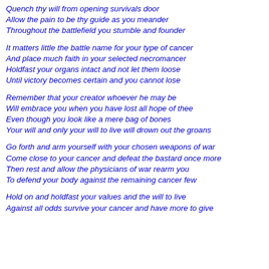Quench thy will from opening survivals door
Allow the pain to be thy guide as you meander
Throughout the battlefield you stumble and founder

It matters little the battle name for your type of cancer
And place much faith in your selected necromancer
Holdfast your organs intact and not let them loose
Until victory becomes certain and you cannot lose

Remember that your creator whoever he may be
Will embrace you when you have lost all hope of thee
Even though you look like a mere bag of bones
Your will and only your will to live will drown out the groans

Go forth and arm yourself with your chosen weapons of war
Come close to your cancer and defeat the bastard once more
Then rest and allow the physicians of war rearm you
To defend your body against the remaining cancer few

Hold on and holdfast your values and the will to live
Against all odds survive your cancer and have more to give